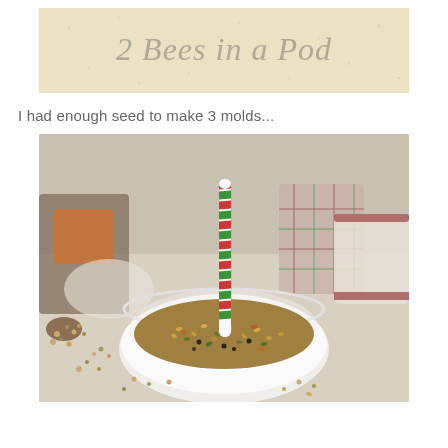[Figure (photo): Blog header image for '2 Bees in a Pod' showing a light cream/granite textured background with elegant italic script text reading '2 Bees in a Pod']
I had enough seed to make 3 molds...
[Figure (photo): Photo of a white bowl filled with mixed bird seed with a red, white and green striped candy stick or straw inserted vertically into the center. Kitchen countertop background with mugs and other items out of focus.]